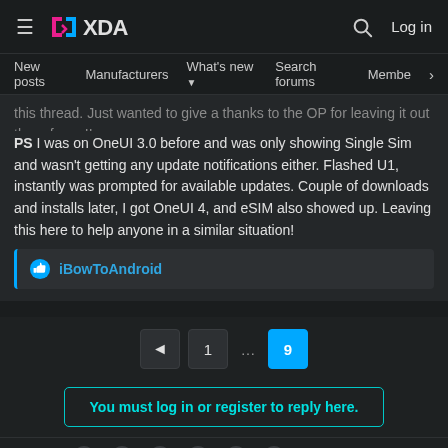XDA — New posts | Manufacturers | What's new | Search forums | Members
this thread. Just wanted to give a thanks to the OP for leaving it out there for us!!
P.S I was on OneUI 3.0 before and was only showing Single Sim and wasn't getting any update notifications either. Flashed U1, instantly was prompted for available updates. Couple of downloads and installs later, I got OneUI 4, and eSIM also showed up. Leaving this here to help anyone in a similar situation!
iBowToAndroid
You must log in or register to reply here.
Share: